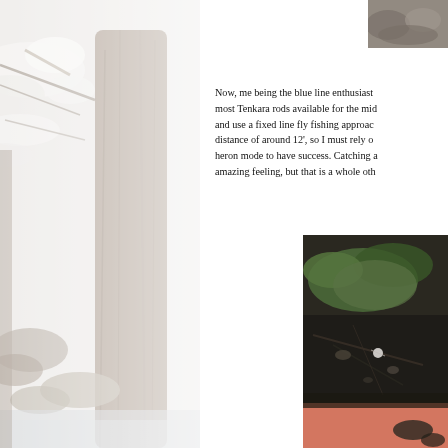[Figure (photo): Faded/washed-out black and white photo of a snowy winter scene near a large tree trunk with snow-covered branches and rocks by what appears to be a stream or creek. The image occupies the full left column of the page.]
[Figure (photo): Small color photo in the top-right corner, partially cropped, showing rocks or a rocky surface.]
Now, me being the blue line enthusiast most Tenkara rods available for the mid and use a fixed line fly fishing approac distance of around 12', so I must rely o heron mode to have success. Catching a amazing feeling, but that is a whole oth
[Figure (photo): Color photo in the bottom-right area showing forest floor with green mossy rocks, dark soil, twigs, and what appears to be a pink/orange item (possibly fishing equipment) at the bottom.]